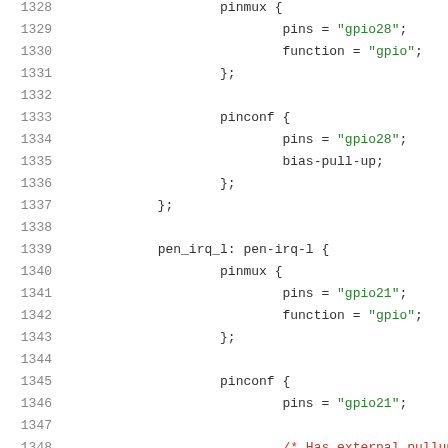Source code listing lines 1328-1348 showing devicetree pinmux and pinconf configuration nodes for gpio28 and gpio21 pins including pen_irq_l node definition